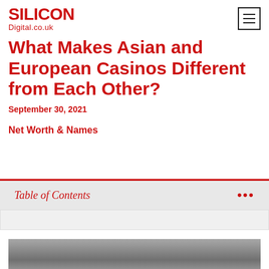Silicon Digital.co.uk
What Makes Asian and European Casinos Different from Each Other?
September 30, 2021
Net Worth & Names
Table of Contents
[Figure (photo): Partial view of a photo at the bottom of the page, appears to show a casino or related scene in grayscale/muted tones]